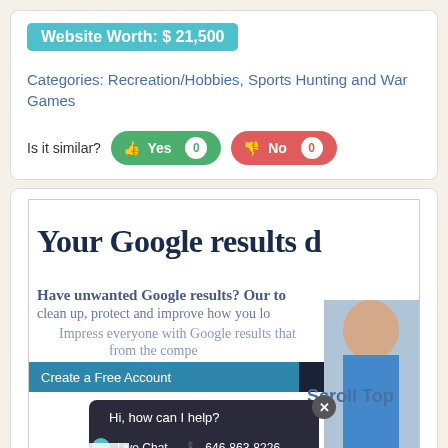Website Worth: $ 21,500
Categories: Recreation/Hobbies, Sports Hunting and War Games
Is it similar? Yes 0  No 0
[Figure (screenshot): Screenshot of a webpage showing 'Your Google results d...' with text 'Have unwanted Google results? Our to... clean up, protect and improve how you lo... Impress everyone with Google results that from the compe...' and a chat popup 'Hi, how can I help? Live Chat 646-863-8226' with siteprice.org watermark, and 'Scroll Top' label]
Like 0